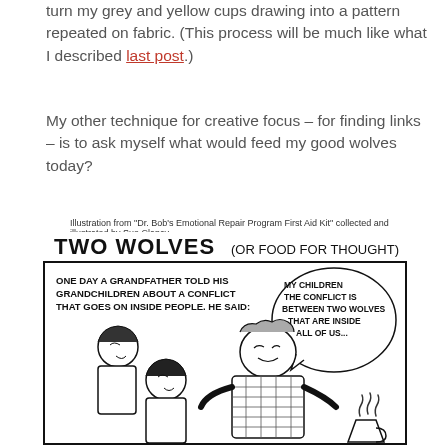turn my grey and yellow cups drawing into a pattern repeated on fabric. (This process will be much like what I described last post.)
My other technique for creative focus – for finding links – is to ask myself what would feed my good wolves today?
Illustration from "Dr. Bob's Emotional Repair Program First Aid Kit" collected and illustrated by Sue Clancy
[Figure (illustration): A black and white comic illustration titled 'Two Wolves (or Food for Thought)' showing a grandfather telling his grandchildren about a conflict that goes on inside people. He says 'My children the conflict is between two wolves that are inside all of us...' A steaming cup is visible on the right side.]